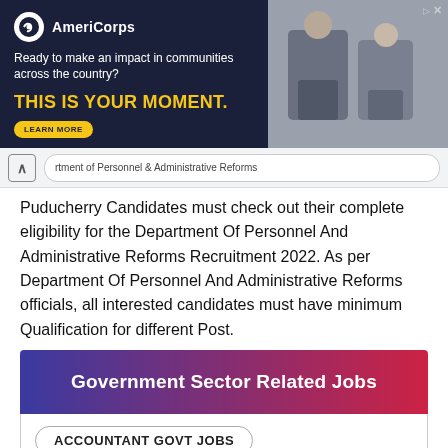[Figure (other): AmeriCorps advertisement banner with dark navy background. Logo with white circle, brand name 'AmeriCorps', tagline 'Ready to make an impact in communities across the country?', bold yellow text 'THIS IS YOUR MOMENT.', and a 'LEARN MORE' button. Right side shows a photo of people.]
Department of Personnel & Administrative Reforms
Puducherry Candidates must check out their complete eligibility for the Department Of Personnel And Administrative Reforms Recruitment 2022. As per Department Of Personnel And Administrative Reforms officials, all interested candidates must have minimum Qualification for different Post.
Government Sector Related Jobs
ACCOUNTANT GOVT JOBS